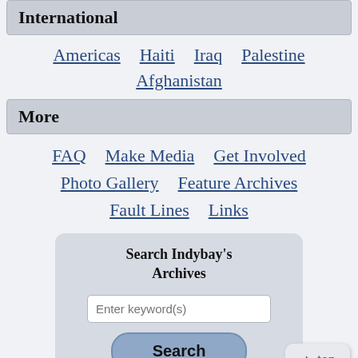International
Americas
Haiti
Iraq
Palestine
Afghanistan
More
FAQ
Make Media
Get Involved
Photo Gallery
Feature Archives
Fault Lines
Links
Search Indybay's Archives
Enter keyword(s)
Search
▲ top